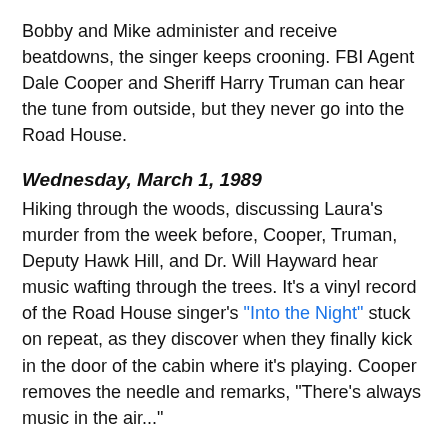Bobby and Mike administer and receive beatdowns, the singer keeps crooning. FBI Agent Dale Cooper and Sheriff Harry Truman can hear the tune from outside, but they never go into the Road House.
Wednesday, March 1, 1989
Hiking through the woods, discussing Laura's murder from the week before, Cooper, Truman, Deputy Hawk Hill, and Dr. Will Hayward hear music wafting through the trees. It's a vinyl record of the Road House singer's "Into the Night" stuck on repeat, as they discover when they finally kick in the door of the cabin where it's playing. Cooper removes the needle and remarks, "There's always music in the air..."
Thursday, March 9, 1989
Wearing a red dress, the singer joyously recites "Rockin' Back Inside My Heart" as Donna and James Hurley discuss a sober subject: the death of local recluse Harold Smith. Donna feels guilty but James shrugs it off: "Everybody's hurt inside." Truman, Cooper, and Margaret "The Log Lady" Lanterman arrive and sit at a table, as if anticipating something. Donna mouths the words of the song to James